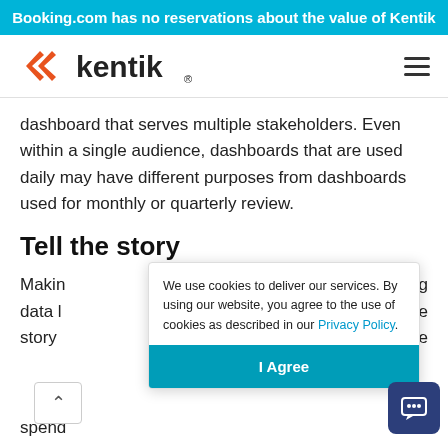Booking.com has no reservations about the value of Kentik
[Figure (logo): Kentik logo with orange double-chevron icon and bold 'kentik' text]
dashboard that serves multiple stakeholders. Even within a single audience, dashboards that are used daily may have different purposes from dashboards used for monthly or quarterly review.
Tell the story
Makin... [partially obscured] ...ping data l... [partially obscured] ...rue story o... [partially obscured] ...e ...er... spend...
We use cookies to deliver our services. By using our website, you agree to the use of cookies as described in our Privacy Policy.